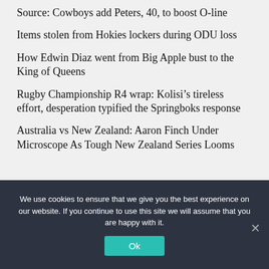Source: Cowboys add Peters, 40, to boost O-line
Items stolen from Hokies lockers during ODU loss
How Edwin Diaz went from Big Apple bust to the King of Queens
Rugby Championship R4 wrap: Kolisi’s tireless effort, desperation typified the Springboks response
Australia vs New Zealand: Aaron Finch Under Microscope As Tough New Zealand Series Looms
We use cookies to ensure that we give you the best experience on our website. If you continue to use this site we will assume that you are happy with it.